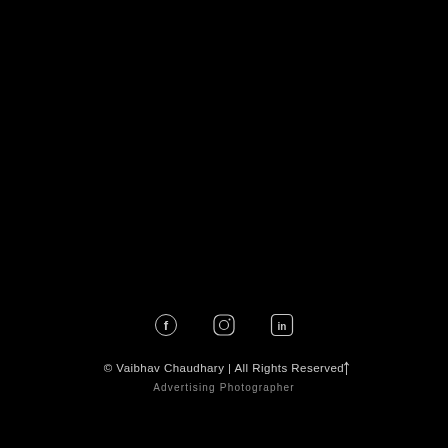[Figure (photo): Dark/black background photo, nearly fully black, appears to be a photograph with very dark exposure]
[Figure (infographic): Social media icons row: Facebook (f), Instagram (circle camera), LinkedIn (in)]
© Vaibhav Chaudhary | All Rights Reserved
Advertising Photographer